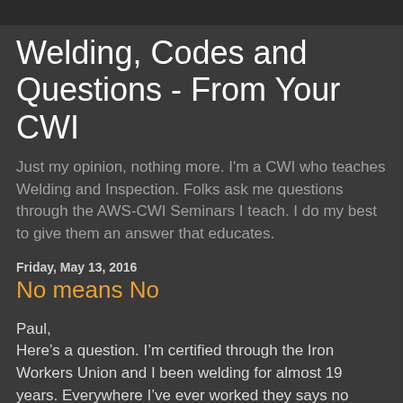Welding, Codes and Questions - From Your CWI
Just my opinion, nothing more. I'm a CWI who teaches Welding and Inspection. Folks ask me questions through the AWS-CWI Seminars I teach. I do my best to give them an answer that educates.
Friday, May 13, 2016
No means No
Paul,
Here’s a question. I’m certified through the Iron Workers Union and I been welding for almost 19 years. Everywhere I’ve ever worked they says no welding downhill and if you